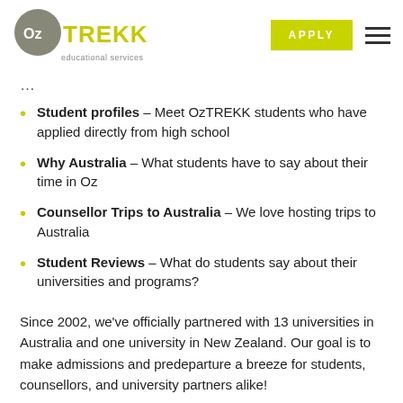[Figure (logo): OzTREKK educational services logo with grey circle and olive/yellow-green TREKK text]
Student profiles – Meet OzTREKK students who have applied directly from high school
Why Australia – What students have to say about their time in Oz
Counsellor Trips to Australia – We love hosting trips to Australia
Student Reviews – What do students say about their universities and programs?
Since 2002, we've officially partnered with 13 universities in Australia and one university in New Zealand. Our goal is to make admissions and predeparture a breeze for students, counsellors, and university partners alike!